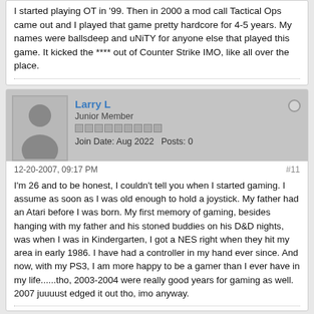I started playing OT in '99. Then in 2000 a mod call Tactical Ops came out and I played that game pretty hardcore for 4-5 years. My names were ballsdeep and uNiTY for anyone else that played this game. It kicked the **** out of Counter Strike IMO, like all over the place.
Larry L
Junior Member
Join Date: Aug 2022   Posts: 0
12-20-2007, 09:17 PM
#11
I'm 26 and to be honest, I couldn't tell you when I started gaming. I assume as soon as I was old enough to hold a joystick. My father had an Atari before I was born. My first memory of gaming, besides hanging with my father and his stoned buddies on his D&D nights, was when I was in Kindergarten, I got a NES right when they hit my area in early 1986. I have had a controller in my hand ever since. And now, with my PS3, I am more happy to be a gamer than I ever have in my life......tho, 2003-2004 were really good years for gaming as well. 2007 juuuust edged it out tho, imo anyway.
Jake-SF